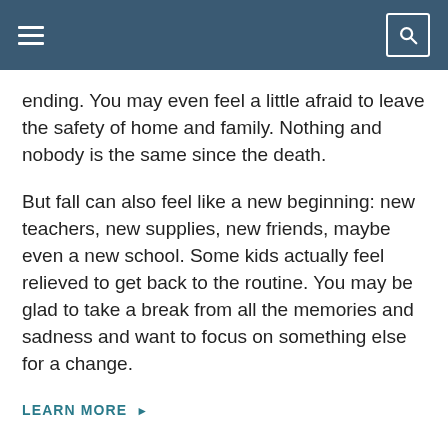ending. You may even feel a little afraid to leave the safety of home and family. Nothing and nobody is the same since the death.
But fall can also feel like a new beginning: new teachers, new supplies, new friends, maybe even a new school. Some kids actually feel relieved to get back to the routine. You may be glad to take a break from all the memories and sadness and want to focus on something else for a change.
LEARN MORE ▶
September 21 2012